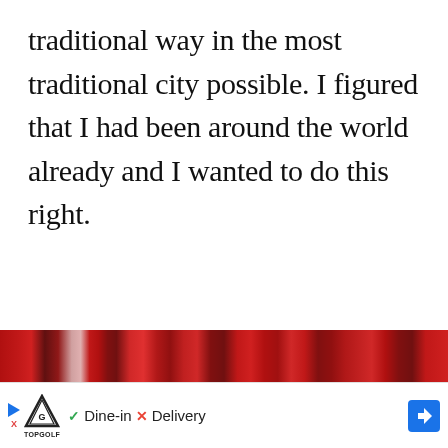traditional way in the most traditional city possible. I figured that I had been around the world already and I wanted to do this right.
[Figure (photo): Advertisement banner at the bottom of the page showing a red-toned image strip at top and a Topgolf ad below with play button, Topgolf logo, checkmark Dine-in, X Delivery, and a blue arrow navigation button.]